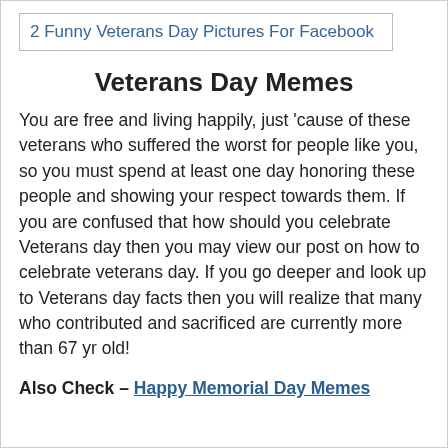2 Funny Veterans Day Pictures For Facebook
Veterans Day Memes
You are free and living happily, just 'cause of these veterans who suffered the worst for people like you, so you must spend at least one day honoring these people and showing your respect towards them. If you are confused that how should you celebrate Veterans day then you may view our post on how to celebrate veterans day. If you go deeper and look up to Veterans day facts then you will realize that many who contributed and sacrificed are currently more than 67 yr old!
Also Check – Happy Memorial Day Memes